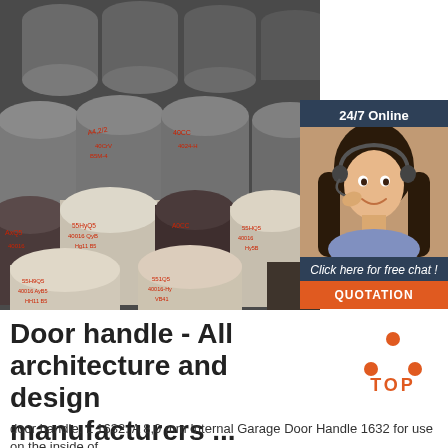[Figure (photo): Stack of steel round bars/rods arranged in a pile, each end stamped with red alphanumeric markings]
[Figure (infographic): 24/7 Online chat sidebar box featuring a woman with headset. Includes 'Click here for free chat !' text and orange QUOTATION button]
Door handle - All architecture and design manufacturers ...
[Figure (logo): TOP logo with orange triangle/chevron arrow pointing up, text TOP in orange]
door handle. L 1632. A 8,0 mm Internal Garage Door Handle 1632 for use on the inside of